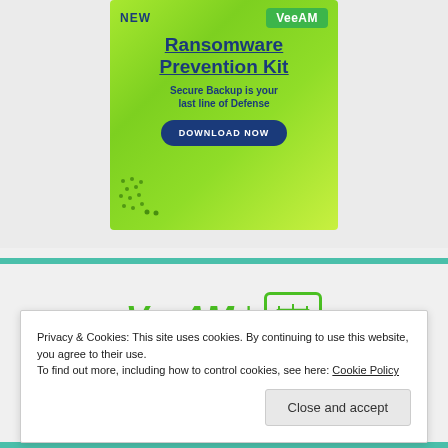[Figure (illustration): Veeam Ransomware Prevention Kit advertisement banner with green gradient background. Shows 'NEW' label, Veeam logo, 'Ransomware Prevention Kit' title, 'Secure Backup is your last line of Defense' subtitle, and 'DOWNLOAD NOW' button.]
[Figure (logo): Veeam logo text in green italic font followed by a pipe separator and a server/database icon outlined in green]
Privacy & Cookies: This site uses cookies. By continuing to use this website, you agree to their use. To find out more, including how to control cookies, see here: Cookie Policy
Close and accept